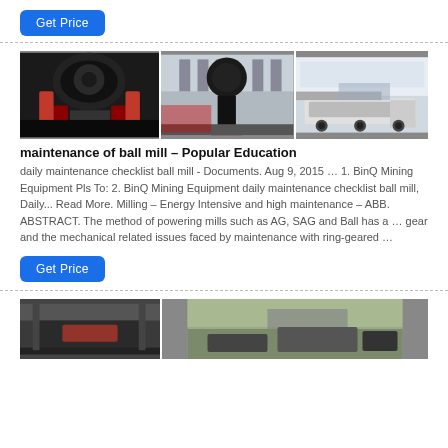Get Price
[Figure (photo): Three industrial mining/crushing machine photos side by side]
maintenance of ball mill – Popular Education
daily maintenance checklist ball mill - Documents. Aug 9, 2015 … 1. BinQ Mining Equipment Pls To: 2. BinQ Mining Equipment daily maintenance checklist ball mill, Daily... Read More. Milling – Energy Intensive and high maintenance – ABB. ABSTRACT. The method of powering mills such as AG, SAG and Ball has a … gear and the mechanical related issues faced by maintenance with ring-geared …
Get Price
[Figure (photo): Two industrial mining equipment/quarry photos side by side]